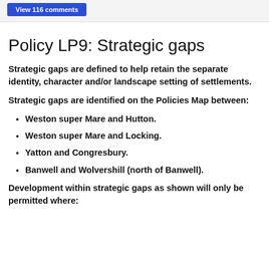View 116 comments
Policy LP9: Strategic gaps
Strategic gaps are defined to help retain the separate identity, character and/or landscape setting of settlements.
Strategic gaps are identified on the Policies Map between:
Weston super Mare and Hutton.
Weston super Mare and Locking.
Yatton and Congresbury.
Banwell and Wolvershill (north of Banwell).
Development within strategic gaps as shown will only be permitted where: